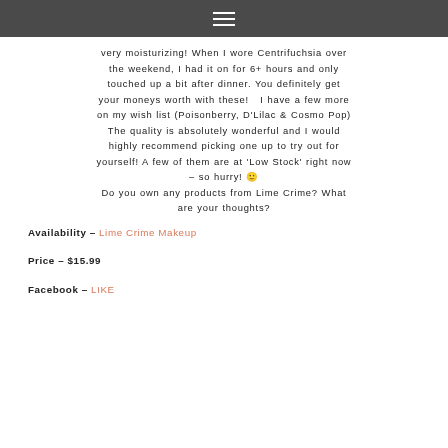≡
very moisturizing! When I wore Centrifuchsia over the weekend, I had it on for 6+ hours and only touched up a bit after dinner. You definitely get your moneys worth with these!  I have a few more on my wish list (Poisonberry, D'Lilac & Cosmo Pop) The quality is absolutely wonderful and I would highly recommend picking one up to try out for yourself! A few of them are at 'Low Stock' right now – so hurry! 🙂 Do you own any products from Lime Crime? What are your thoughts?
Availability – Lime Crime Makeup
Price – $15.99
Facebook – LIKE